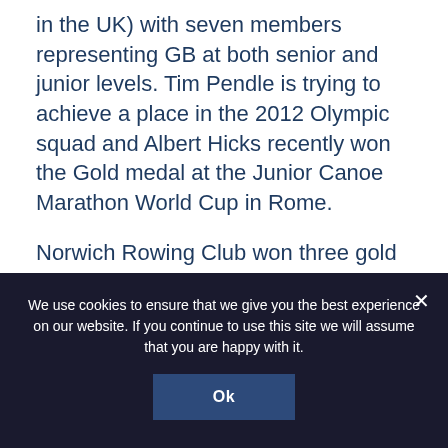in the UK) with seven members representing GB at both senior and junior levels. Tim Pendle is trying to achieve a place in the 2012 Olympic squad and Albert Hicks recently won the Gold medal at the Junior Canoe Marathon World Cup in Rome.
Norwich Rowing Club won three gold and two silver medals at the recent National Masters Championships and the Club's Junior Quadruple scull (all coming from different non-rowing schools as part of the club's outreach programme)
We use cookies to ensure that we give you the best experience on our website. If you continue to use this site we will assume that you are happy with it.